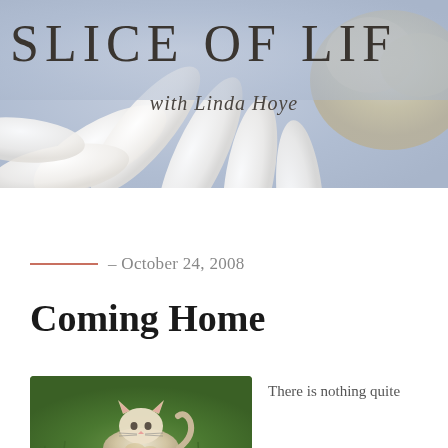[Figure (photo): Blog header banner: large white daisy petals with soft blue-grey background and a fluffy sheep/animal visible at right. Text overlay reads 'SLICE OF LIF' (cropped) with 'with Linda Hoye' in italic below.]
SLICE OF LIF
with Linda Hoye
– October 24, 2008
Coming Home
[Figure (photo): Photo of a small cat or kitten lying on green grass, viewed from above.]
There is nothing quite